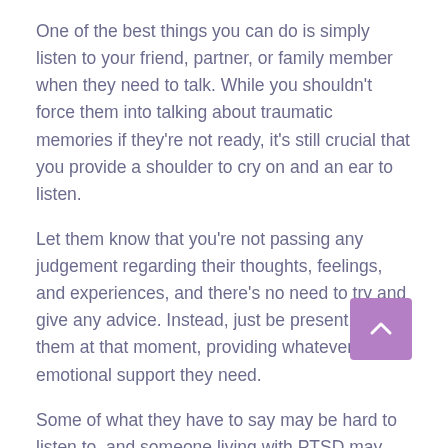One of the best things you can do is simply listen to your friend, partner, or family member when they need to talk. While you shouldn't force them into talking about traumatic memories if they're not ready, it's still crucial that you provide a shoulder to cry on and an ear to listen.
Let them know that you're not passing any judgement regarding their thoughts, feelings, and experiences, and there's no need to try and give any advice. Instead, just be present for them at that moment, providing whatever emotional support they need.
Some of what they have to say may be hard to listen to, and someone living with PTSD may need to talk through traumatic events over and over again to truly process them, so try to be patient.
Anticipate Triggers and